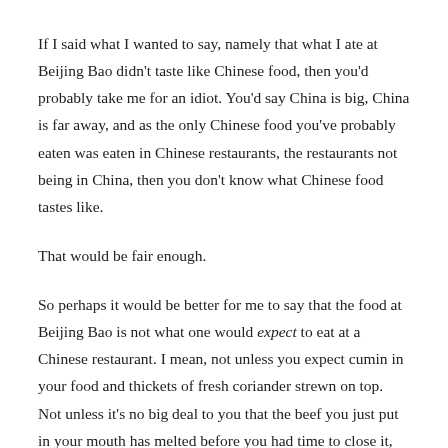If I said what I wanted to say, namely that what I ate at Beijing Bao didn't taste like Chinese food, then you'd probably take me for an idiot. You'd say China is big, China is far away, and as the only Chinese food you've probably eaten was eaten in Chinese restaurants, the restaurants not being in China, then you don't know what Chinese food tastes like.
That would be fair enough.
So perhaps it would be better for me to say that the food at Beijing Bao is not what one would expect to eat at a Chinese restaurant. I mean, not unless you expect cumin in your food and thickets of fresh coriander strewn on top. Not unless it's no big deal to you that the beef you just put in your mouth has melted before you had time to close it, let alone chew; and not unless you're the kind of person that would find someone's asking you to pass the soy sauce some sort of injustice. Because the soy sauce doesn't appear...